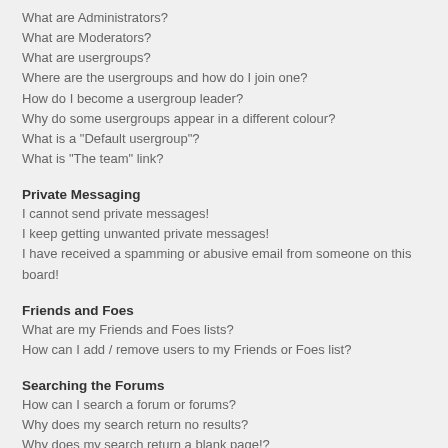What are Administrators?
What are Moderators?
What are usergroups?
Where are the usergroups and how do I join one?
How do I become a usergroup leader?
Why do some usergroups appear in a different colour?
What is a "Default usergroup"?
What is "The team" link?
Private Messaging
I cannot send private messages!
I keep getting unwanted private messages!
I have received a spamming or abusive email from someone on this board!
Friends and Foes
What are my Friends and Foes lists?
How can I add / remove users to my Friends or Foes list?
Searching the Forums
How can I search a forum or forums?
Why does my search return no results?
Why does my search return a blank page!?
How do I search for members?
How can I find my own posts and topics?
Subscriptions and Bookmarks
What is the difference between bookmarking and subscribing?